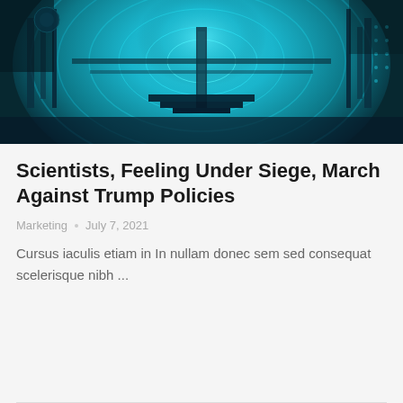[Figure (photo): Interior of a large scientific/industrial facility showing a circular tunnel or chamber with blue lighting, metallic structures, pipes, and complex machinery — likely a particle accelerator or fusion reactor interior.]
Scientists, Feeling Under Siege, March Against Trump Policies
Marketing   July 7, 2021
Cursus iaculis etiam in In nullam donec sem sed consequat scelerisque nibh ...